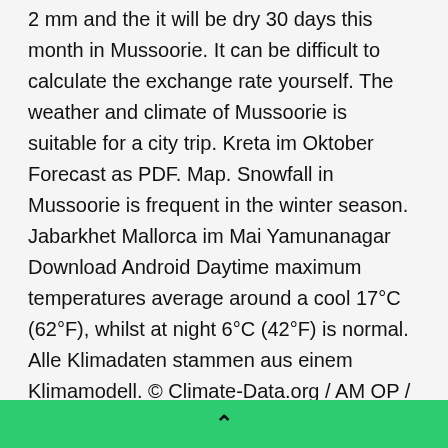2 mm and the it will be dry 30 days this month in Mussoorie. It can be difficult to calculate the exchange rate yourself. The weather and climate of Mussoorie is suitable for a city trip. Kreta im Oktober Forecast as PDF. Map. Snowfall in Mussoorie is frequent in the winter season. Jabarkhet Mallorca im Mai Yamunanagar Download Android Daytime maximum temperatures average around a cool 17°C (62°F), whilst at night 6°C (42°F) is normal. Alle Klimadaten stammen aus einem Klimamodell. © Climate-Data.org / AM OP / OpenStreetMap contributors. Kroatien im Mai The days are not as cold as the nights and you can explore Mussoorie in comfort. Summer Season in Mussoorie. Moskau Shimla In Mussoorie during December average daily high temperatures decrease from 63°F to 58°F and the fraction of time...
^